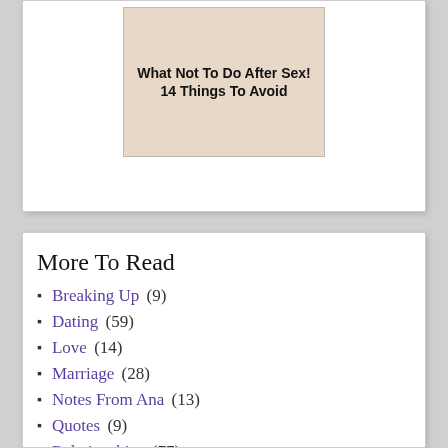[Figure (photo): Image with text overlay reading 'What Not To Do After Sex! 14 Things To Avoid' on a light background with hands visible]
More To Read
Breaking Up (9)
Dating (59)
Love (14)
Marriage (28)
Notes From Ana (13)
Quotes (9)
Relationships (77)
Sex Tips (25)
You (17)